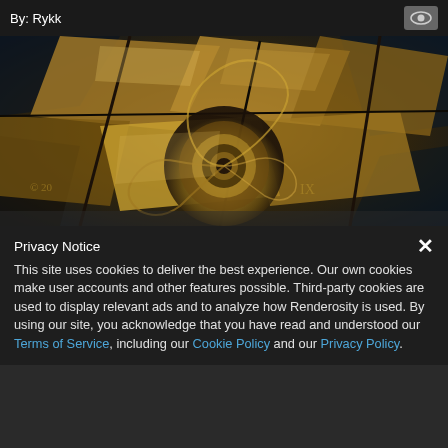By: Rykk
[Figure (illustration): Abstract fractal spiral artwork with gold and brown metallic geometric shapes forming a nautilus-like spiral pattern with dark blue-grey background. Copyright watermark visible.]
Privacy Notice
This site uses cookies to deliver the best experience. Our own cookies make user accounts and other features possible. Third-party cookies are used to display relevant ads and to analyze how Renderosity is used. By using our site, you acknowledge that you have read and understood our Terms of Service, including our Cookie Policy and our Privacy Policy.